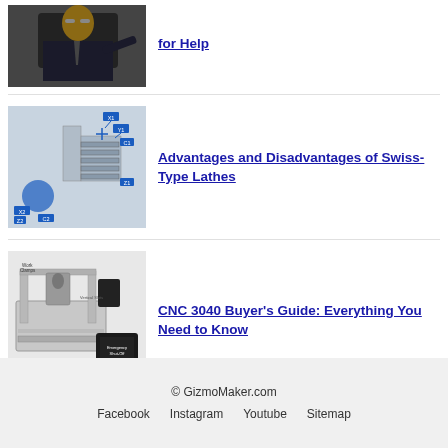[Figure (photo): Man in suit pointing, wearing glasses, at a press conference or official event]
for Help
[Figure (engineering-diagram): Swiss-type lathe diagram with labeled axes X1, Y1, C1, Z1, X2, C2, Z2 shown on CNC machine components]
Advantages and Disadvantages of Swiss-Type Lathes
[Figure (photo): CNC 3040 machine with labeled parts: Work Clamps, Spindle Mount, Z-Probe, Vertical Slots, Emergency Shut-Off box, Rotary Tool]
CNC 3040 Buyer's Guide: Everything You Need to Know
© GizmoMaker.com  Facebook  Instagram  Youtube  Sitemap